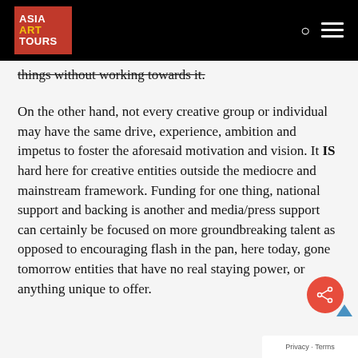ASIA ART TOURS
things without working towards it.
On the other hand, not every creative group or individual may have the same drive, experience, ambition and impetus to foster the aforesaid motivation and vision. It IS hard here for creative entities outside the mediocre and mainstream framework. Funding for one thing, national support and backing is another and media/press support can certainly be focused on more groundbreaking talent as opposed to encouraging flash in the pan, here today, gone tomorrow entities that have no real staying power, or anything unique to offer.
Privacy · Terms